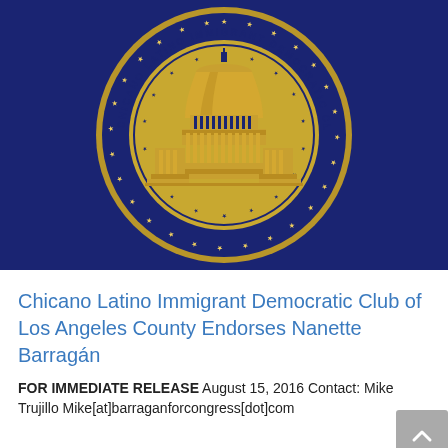[Figure (logo): Circular seal/logo of the Chicano Latino Immigrant Democratic Club of Los Angeles County on a dark navy blue background. Gold-colored seal with a Capitol building dome in the center, surrounded by text reading 'CHICANO LATINO IMMIGRANT DEMOCRATIC CLUB OF LOS ANGELES COUNTY' with stars around the inner and outer rings.]
Chicano Latino Immigrant Democratic Club of Los Angeles County Endorses Nanette Barragán
FOR IMMEDIATE RELEASE August 15, 2016 Contact: Mike Trujillo Mike[at]barraganforcongress[dot]com